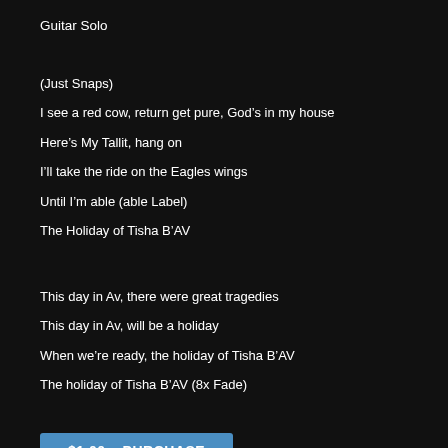Guitar Solo
(Just Snaps)
I see a red cow, return get pure, God’s in my house
Here’s My Tallit, hang on
I’ll take the ride on the Eagles wings
Until I’m able (able Label)
The Holiday of Tisha B’AV
This day in Av, there were great tragedies
This day in Av, will be a holiday
When we’re ready, the holiday of Tisha B’AV
The holiday of Tisha B’AV (8x Fade)
$1.00 – PURCHASE